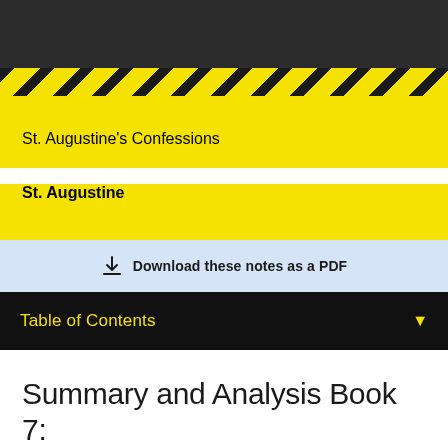St. Augustine's Confessions
St. Augustine
Download these notes as a PDF
Table of Contents
Summary and Analysis Book 7: Chapters 1-21